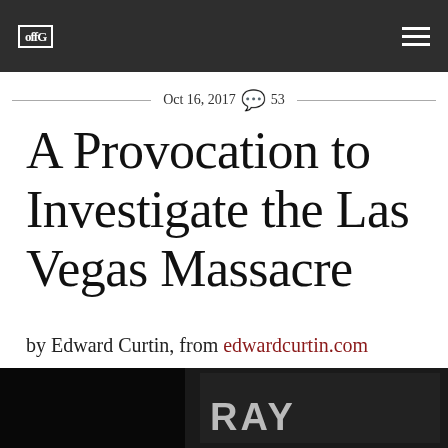offG [logo]
Oct 16, 2017 💬 53
A Provocation to Investigate the Las Vegas Massacre
by Edward Curtin, from edwardcurtin.com
[Figure (photo): Dark photograph showing the bottom of a building sign with letters 'RAY' visible, black background]